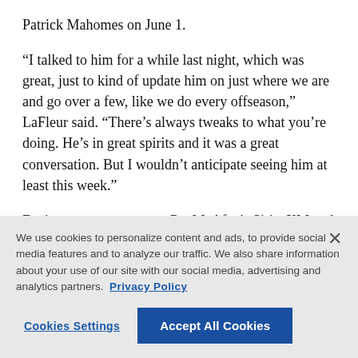Patrick Mahomes on June 1.
“I talked to him for a while last night, which was great, just to kind of update him on just where we are and go over a few, like we do every offseason,” LaFleur said. “There’s always tweaks to what you’re doing. He’s in great spirits and it was a great conversation. But I wouldn’t anticipate seeing him at least this week.”
During an appearance on Pat McAfee’s SiriusXM and YouTube [text cut off]
We use cookies to personalize content and ads, to provide social media features and to analyze our traffic. We also share information about your use of our site with our social media, advertising and analytics partners. Privacy Policy
Cookies Settings
Accept All Cookies